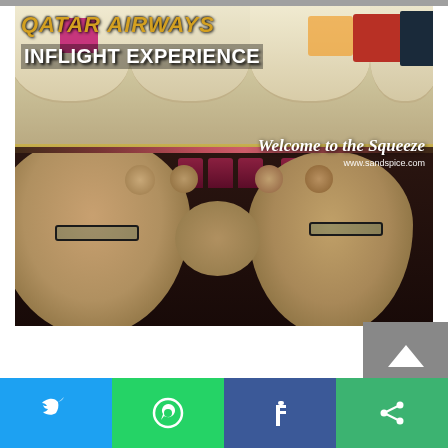[Figure (photo): Qatar Airways inflight economy class cabin photo showing overhead bins with luggage, pink cabin walls, rows of dark red seats, and passengers including two foreground faces. Text overlay reads 'QATAR AIRWAYS INFLIGHT EXPERIENCE' and 'Welcome to the Squeeze / www.sandspice.com']
Sharing is caring!
[Figure (infographic): Social media share bar with four buttons: Twitter (blue), WhatsApp (green), Facebook (dark blue), More (green)]